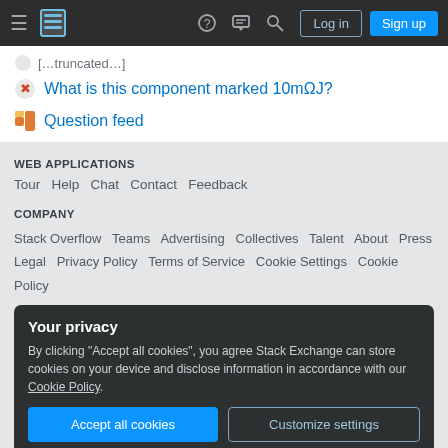Stack Exchange navigation bar with hamburger menu, logo, help, chat, search icons, Log in and Sign up buttons
What is this component marked 10mΩJ?
Question feed
WEB APPLICATIONS
Tour   Help   Chat   Contact   Feedback
COMPANY
Stack Overflow   Teams   Advertising   Collectives   Talent   About   Press
Legal   Privacy Policy   Terms of Service   Cookie Settings   Cookie Policy
Your privacy
By clicking "Accept all cookies", you agree Stack Exchange can store cookies on your device and disclose information in accordance with our Cookie Policy.
Site design / logo © 2022 Stack Exchange Inc; user contributions licensed under CC